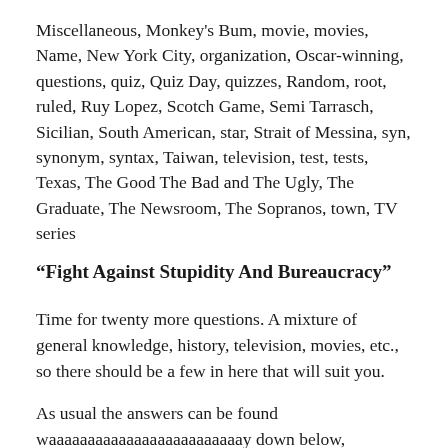Miscellaneous, Monkey's Bum, movie, movies, Name, New York City, organization, Oscar-winning, questions, quiz, Quiz Day, quizzes, Random, root, ruled, Ruy Lopez, Scotch Game, Semi Tarrasch, Sicilian, South American, star, Strait of Messina, syn, synonym, syntax, Taiwan, television, test, tests, Texas, The Good The Bad and The Ugly, The Graduate, The Newsroom, The Sopranos, town, TV series
“Fight Against Stupidity And Bureaucracy”
Time for twenty more questions. A mixture of general knowledge, history, television, movies, etc., so there should be a few in here that will suit you.
As usual the answers can be found waaaaaaaaaaaaaaaaaaaaaaaaay down below,